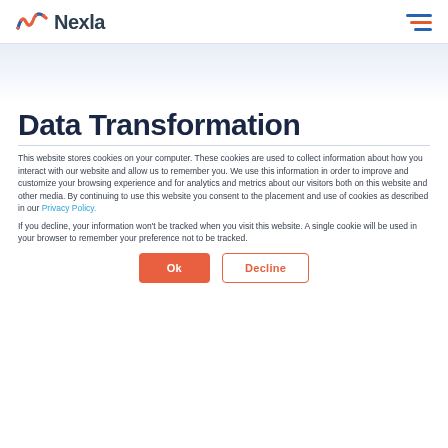Nexla
Data Transformation
This website stores cookies on your computer. These cookies are used to collect information about how you interact with our website and allow us to remember you. We use this information in order to improve and customize your browsing experience and for analytics and metrics about our visitors both on this website and other media. By continuing to use this website you consent to the placement and use of cookies as described in our Privacy Policy.
If you decline, your information won't be tracked when you visit this website. A single cookie will be used in your browser to remember your preference not to be tracked.